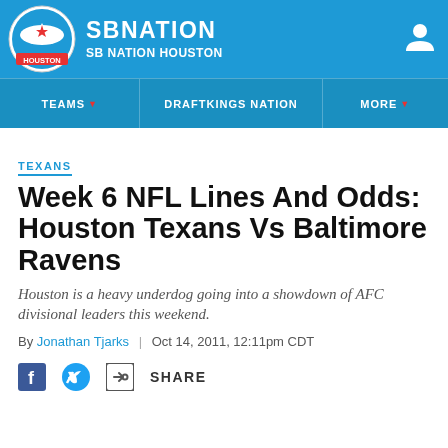SB NATION / SB NATION HOUSTON
TEXANS
Week 6 NFL Lines And Odds: Houston Texans Vs Baltimore Ravens
Houston is a heavy underdog going into a showdown of AFC divisional leaders this weekend.
By Jonathan Tjarks | Oct 14, 2011, 12:11pm CDT